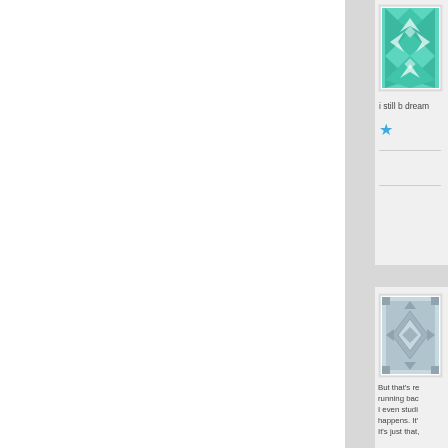[Figure (illustration): Teal/cyan geometric quilt-pattern avatar image at top right]
i still b dream
[Figure (illustration): Blue star rating icon]
[Figure (illustration): Gray geometric pattern avatar image for second comment]
But that's re running bac
I even studi happens. It'
It's just that,